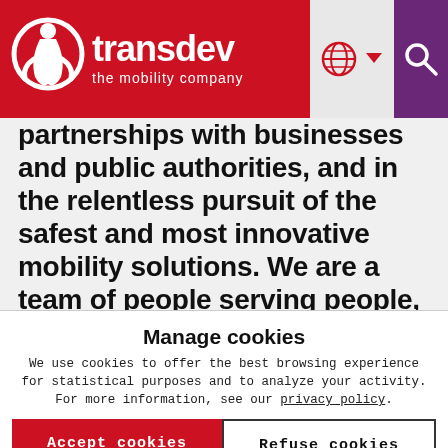[Figure (logo): Transdev logo on red background with tagline 'the mobility company', plus globe/language icon and search icon]
partnerships with businesses and public authorities, and in the relentless pursuit of the safest and most innovative mobility solutions. We are a team of people serving people, and mobility is what we do. Transdev is jointly held by Caisse des Dépôts Group (66%) and the
Manage cookies
We use cookies to offer the best browsing experience for statistical purposes and to analyze your activity. For more information, see our privacy policy.
Accept cookies
Refuse cookies
Manage cookies